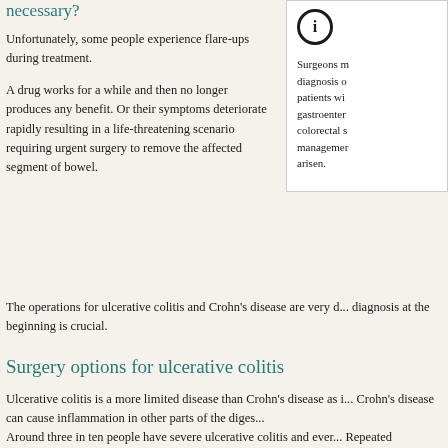necessary?
Unfortunately, some people experience flare-ups during treatment.
A drug works for a while and then no longer produces any benefit. Or their symptoms deteriorate rapidly resulting in a life-threatening scenario requiring urgent surgery to remove the affected segment of bowel.
Surgeons m... diagnosis of... patients wi... gastroenter... colorectal s... management... arisen.
The operations for ulcerative colitis and Crohn's disease are very d... diagnosis at the beginning is crucial.
Surgery options for ulcerative colitis
Ulcerative colitis is a more limited disease than Crohn's disease as i... Crohn's disease can cause inflammation in other parts of the diges...
Around three in ten people have severe ulcerative colitis and ever... Repeated inflammation over many years can cause changes to the... represents significant steps towards colon cancer. To prevent this,